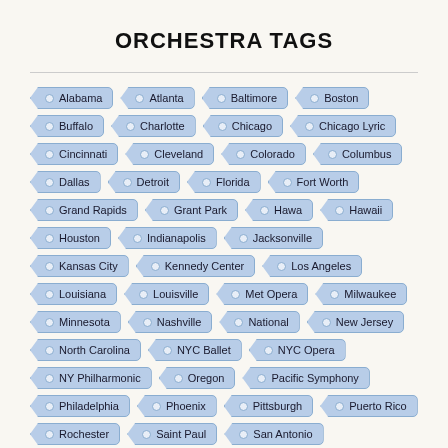ORCHESTRA TAGS
Alabama
Atlanta
Baltimore
Boston
Buffalo
Charlotte
Chicago
Chicago Lyric
Cincinnati
Cleveland
Colorado
Columbus
Dallas
Detroit
Florida
Fort Worth
Grand Rapids
Grant Park
Hawa
Hawaii
Houston
Indianapolis
Jacksonville
Kansas City
Kennedy Center
Los Angeles
Louisiana
Louisville
Met Opera
Milwaukee
Minnesota
Nashville
National
New Jersey
North Carolina
NYC Ballet
NYC Opera
NY Philharmonic
Oregon
Pacific Symphony
Philadelphia
Phoenix
Pittsburgh
Puerto Rico
Rochester
Saint Paul
San Antonio
San Diego
SF Ballet
SF Opera
SF Symphony
St. Louis